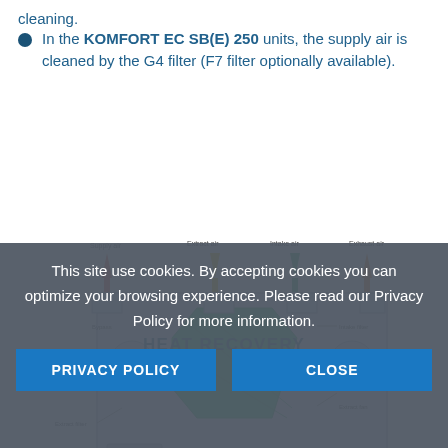cleaning.
In the KOMFORT EC SB(E) 250 units, the supply air is cleaned by the G4 filter (F7 filter optionally available).
[Figure (engineering-diagram): Cutaway diagram of KOMFORT EC heat recovery ventilation unit showing supply air (red arrow up), extract air (yellow arrow down), intake air (green arrow down), exhaust air (orange arrow up), bypass, supply fan, extract filter, control unit, intake filter, heat exchanger, extract fan, drain pan components labeled.]
HEAT RECOVERY
This site use cookies. By accepting cookies you can optimize your browsing experience. Please read our Privacy Policy for more information.
PRIVACY POLICY
CLOSE